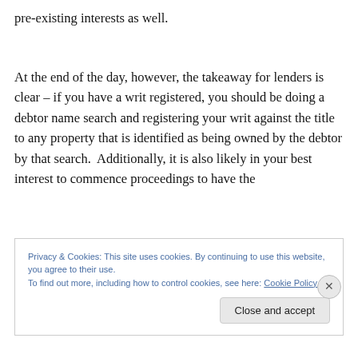pre-existing interests as well.
At the end of the day, however, the takeaway for lenders is clear – if you have a writ registered, you should be doing a debtor name search and registering your writ against the title to any property that is identified as being owned by the debtor by that search.  Additionally, it is also likely in your best interest to commence proceedings to have the
Privacy & Cookies: This site uses cookies. By continuing to use this website, you agree to their use.
To find out more, including how to control cookies, see here: Cookie Policy
Close and accept